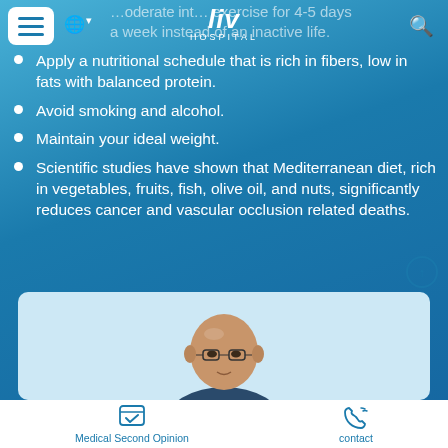Liv Hospital — navigation bar with hamburger menu, globe/language selector, Liv Hospital logo, and search icon
…oderate intensity exercise for 4-5 days a week instead of an inactive life.
Apply a nutritional schedule that is rich in fibers, low in fats with balanced protein.
Avoid smoking and alcohol.
Maintain your ideal weight.
Scientific studies have shown that Mediterranean diet, rich in vegetables, fruits, fish, olive oil, and nuts, significantly reduces cancer and vascular occlusion related deaths.
[Figure (photo): Doctor portrait photo in a light blue card at the bottom of the page — bald man with glasses, partially visible]
Medical Second Opinion | contact